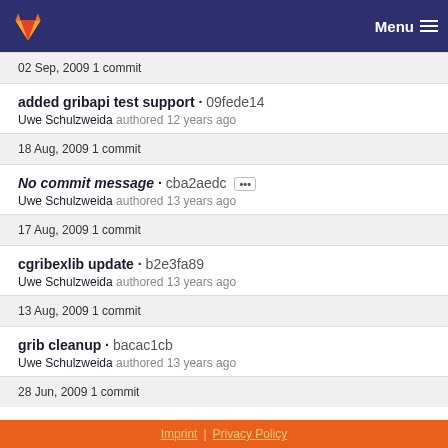Menu
02 Sep, 2009 1 commit
added gribapi test support · 09fede14
Uwe Schulzweida authored 12 years ago
18 Aug, 2009 1 commit
No commit message · cba2aedc ···
Uwe Schulzweida authored 13 years ago
17 Aug, 2009 1 commit
cgribexlib update · b2e3fa89
Uwe Schulzweida authored 13 years ago
13 Aug, 2009 1 commit
grib cleanup · bacac1cb
Uwe Schulzweida authored 13 years ago
28 Jun, 2009 1 commit
Imprint | Privacy Policy